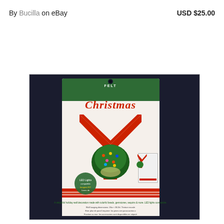By Bucilla on eBay   USD $25.00
[Figure (photo): Product listing photo of a Bucilla Felt Christmas kit in plastic packaging, showing a red felt banner/wall hanging with a Christmas tree ornament design and LED lights. The package label reads 'Felt Christmas' with decorative script. A small inset image shows the completed project. The package has a green header and red/white striped design elements, with descriptive text at the bottom.]